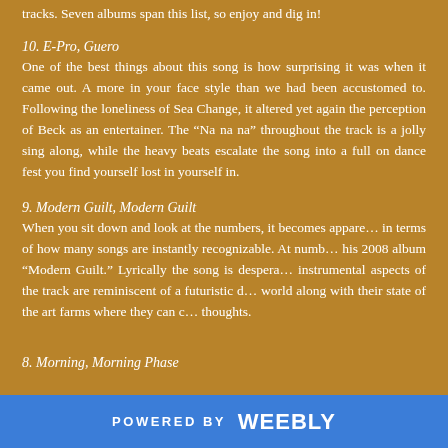tracks. Seven albums span this list, so enjoy and dig in!
10. E-Pro, Guero
One of the best things about this song is how surprising it was when it came out. A more in your face style than we had been accustomed to. Following the loneliness of Sea Change, it altered yet again the perception of Beck as an entertainer. The “Na na na” throughout the track is a jolly sing along, while the heavy beats escalate the song into a full on dance fest you find yourself lost in yourself in.
9. Modern Guilt, Modern Guilt
When you sit down and look at the numbers, it becomes apparent how incredible Beck is in terms of how many songs are instantly recognizable. At number 9 is the title track of his 2008 album “Modern Guilt.” Lyrically the song is desperate and bleak while the instrumental aspects of the track are reminiscent of a futuristic dystopian world along with their state of the art farms where they can control their thoughts.
8. Morning, Morning Phase
POWERED BY weebly